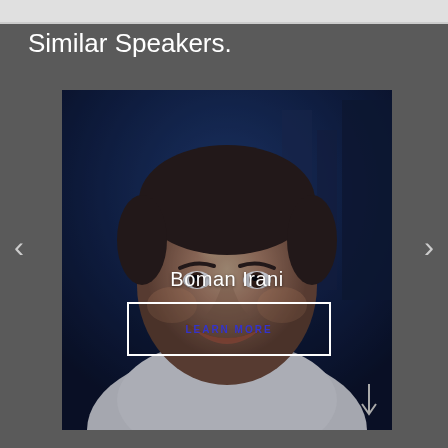Similar Speakers.
[Figure (photo): Portrait photo of Boman Irani, a smiling man in a white shirt against a dark blue background. A carousel card with his name and a 'LEARN MORE' button is overlaid on the image. Navigation arrows are visible on either side.]
Boman Irani
LEARN MORE